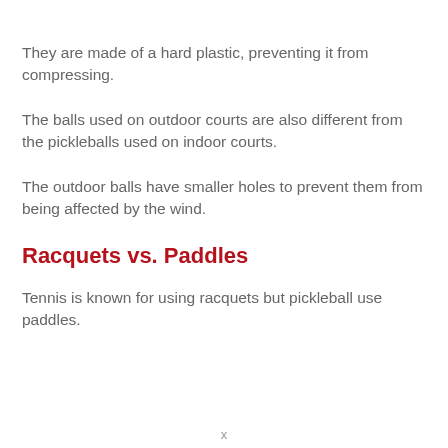They are made of a hard plastic, preventing it from compressing.
The balls used on outdoor courts are also different from the pickleballs used on indoor courts.
The outdoor balls have smaller holes to prevent them from being affected by the wind.
Racquets vs. Paddles
Tennis is known for using racquets but pickleball use paddles.
x